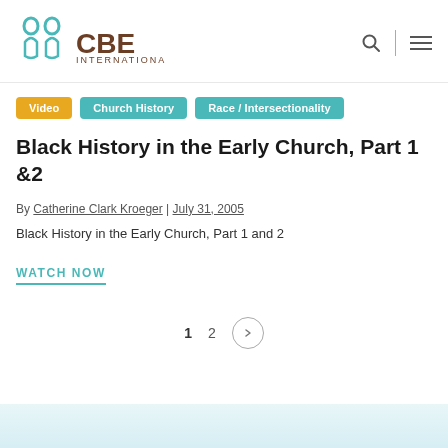CBE International
Video
Church History
Race / Intersectionality
Black History in the Early Church, Part 1 &2
By Catherine Clark Kroeger | July 31, 2005
Black History in the Early Church, Part 1 and 2
WATCH NOW
1 2 >